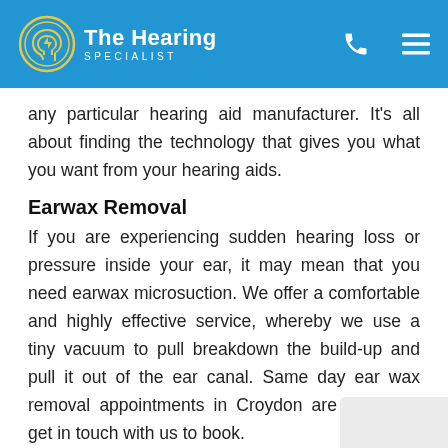The Hearing SPECIALIST
any particular hearing aid manufacturer. It's all about finding the technology that gives you what you want from your hearing aids.
Earwax Removal
If you are experiencing sudden hearing loss or pressure inside your ear, it may mean that you need earwax microsuction. We offer a comfortable and highly effective service, whereby we use a tiny vacuum to pull breakdown the build-up and pull it out of the ear canal. Same day ear wax removal appointments in Croydon are available, get in touch with us to book.